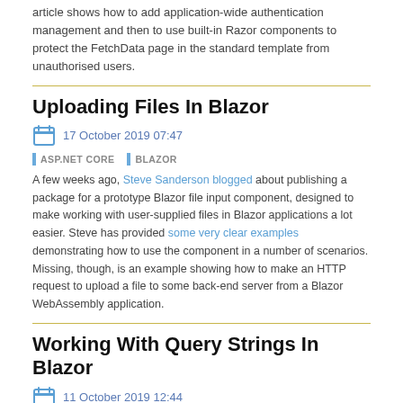article shows how to add application-wide authentication management and then to use built-in Razor components to protect the FetchData page in the standard template from unauthorised users.
Uploading Files In Blazor
17 October 2019 07:47
ASP.NET CORE   BLAZOR
A few weeks ago, Steve Sanderson blogged about publishing a package for a prototype Blazor file input component, designed to make working with user-supplied files in Blazor applications a lot easier. Steve has provided some very clear examples demonstrating how to use the component in a number of scenarios. Missing, though, is an example showing how to make an HTTP request to upload a file to some back-end server from a Blazor WebAssembly application.
Working With Query Strings In Blazor
11 October 2019 12:44